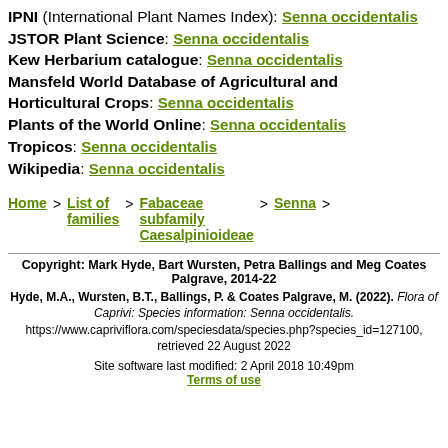IPNI (International Plant Names Index): Senna occidentalis
JSTOR Plant Science: Senna occidentalis
Kew Herbarium catalogue: Senna occidentalis
Mansfeld World Database of Agricultural and Horticultural Crops: Senna occidentalis
Plants of the World Online: Senna occidentalis
Tropicos: Senna occidentalis
Wikipedia: Senna occidentalis
Home > List of families > Fabaceae subfamily Caesalpinioideae > Senna >
Copyright: Mark Hyde, Bart Wursten, Petra Ballings and Meg Coates Palgrave, 2014-22
Hyde, M.A., Wursten, B.T., Ballings, P. & Coates Palgrave, M. (2022). Flora of Caprivi: Species information: Senna occidentalis. https://www.capriviflora.com/speciesdata/species.php?species_id=127100, retrieved 22 August 2022
Site software last modified: 2 April 2018 10:49pm
Terms of use